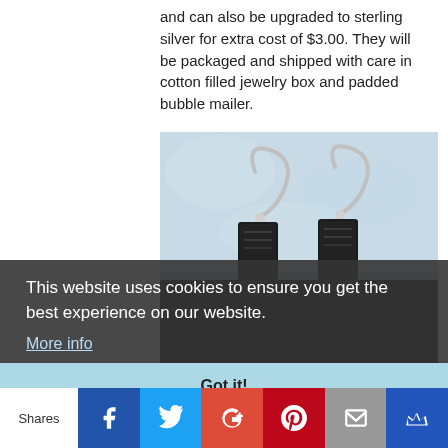and can also be upgraded to sterling silver for extra cost of $3.00. They will be packaged and shipped with care in cotton filled jewelry box and padded bubble mailer.
[Figure (photo): Photo of a pair of earrings with silver hook wires and dark rectangular charms, displayed against a light blue textured background.]
This website uses cookies to ensure you get the best experience on our website.
More info
Got it!
Shares | Facebook | Twitter | Google+ | Pinterest | Email | Crown